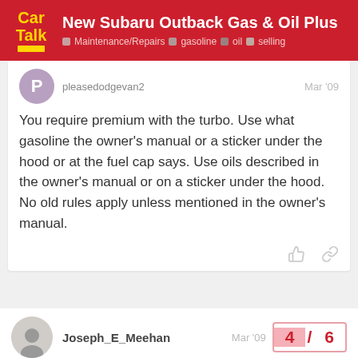New Subaru Outback Gas & Oil Plus | Maintenance/Repairs gasoline oil selling
pleasedodgevan2 Mar '09
You require premium with the turbo. Use what gasoline the owner's manual or a sticker under the hood or at the fuel cap says. Use oils described in the owner's manual or on a sticker under the hood. No old rules apply unless mentioned in the owner's manual.
Joseph_E_Meehan Mar '09